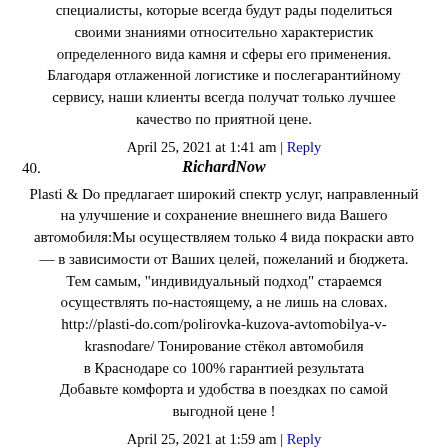специалисты, которые всегда будут рады поделиться своими знаниями относительно характеристик определенного вида камня и сферы его применения. Благодаря отлаженной логистике и послегарантийному сервису, наши клиенты всегда получат только лучшее качество по приятной цене.
April 25, 2021 at 1:41 am | Reply
40.
RichardNow
Plasti & Do предлагает широкий спектр услуг, направленный на улучшение и сохранение внешнего вида Вашего автомобиля:Мы осуществляем только 4 вида покраски авто — в зависимости от Ваших целей, пожеланий и бюджета. Тем самым, "индивидуальный подход" стараемся осуществлять по-настоящему, а не лишь на словах.
http://plasti-do.com/polirovka-kuzova-avtomobilya-v-krasnodare/ Тонирование стёкол автомобиля в Краснодаре со 100% гарантией результата
Добавьте комфорта и удобства в поездках по самой выгодной цене !
April 25, 2021 at 1:59 am | Reply
41.
Davidundub